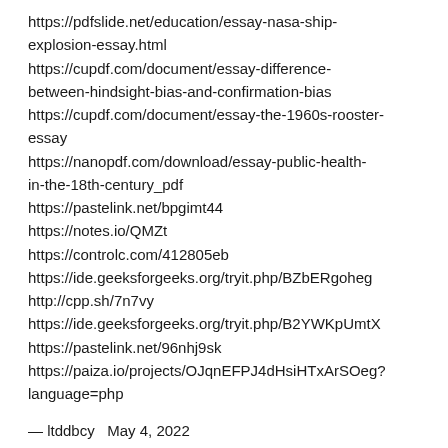https://pdfslide.net/education/essay-nasa-ship-explosion-essay.html
https://cupdf.com/document/essay-difference-between-hindsight-bias-and-confirmation-bias
https://cupdf.com/document/essay-the-1960s-rooster-essay
https://nanopdf.com/download/essay-public-health-in-the-18th-century_pdf
https://pastelink.net/bpgimt44
https://notes.io/QMZt
https://controlc.com/412805eb
https://ide.geeksforgeeks.org/tryit.php/BZbERgoheg
http://cpp.sh/7n7vy
https://ide.geeksforgeeks.org/tryit.php/B2YWKpUmtX
https://pastelink.net/96nhj9sk
https://paiza.io/projects/OJqnEFPJ4dHsiHTxArSOeg?language=php
— ltddbcy   May 4, 2022
http://svob.gazeta.ru/redirect?